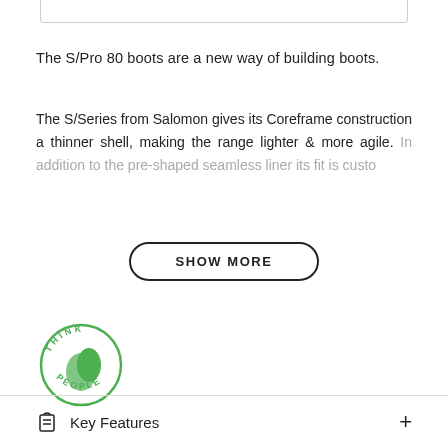The S/Pro 80 boots are a new way of building boots.
The S/Series from Salomon gives its Coreframe construction a thinner shell, making the range lighter & more agile. In addition to the pre-shaped seamless liner its fit is custom… thanks to the
SHOW MORE
[Figure (logo): Think People circular green logo with a profile head silhouette]
Key Features